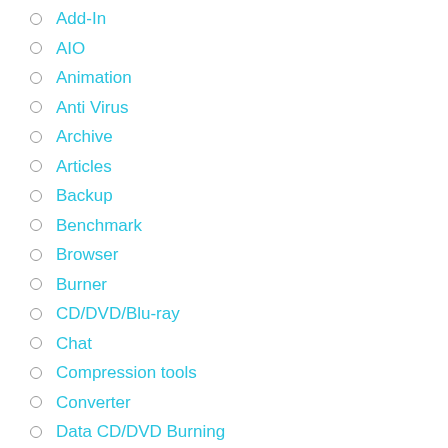Add-In
AIO
Animation
Anti Virus
Archive
Articles
Backup
Benchmark
Browser
Burner
CD/DVD/Blu-ray
Chat
Compression tools
Converter
Data CD/DVD Burning
Datab...